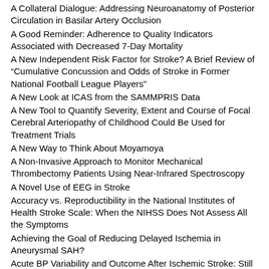A Collateral Dialogue: Addressing Neuroanatomy of Posterior Circulation in Basilar Artery Occlusion
A Good Reminder: Adherence to Quality Indicators Associated with Decreased 7-Day Mortality
A New Independent Risk Factor for Stroke? A Brief Review of "Cumulative Concussion and Odds of Stroke in Former National Football League Players"
A New Look at ICAS from the SAMMPRIS Data
A New Tool to Quantify Severity, Extent and Course of Focal Cerebral Arteriopathy of Childhood Could Be Used for Treatment Trials
A New Way to Think About Moyamoya
A Non-Invasive Approach to Monitor Mechanical Thrombectomy Patients Using Near-Infrared Spectroscopy
A Novel Use of EEG in Stroke
Accuracy vs. Reproductibility in the National Institutes of Health Stroke Scale: When the NIHSS Does Not Assess All the Symptoms
Achieving the Goal of Reducing Delayed Ischemia in Aneurysmal SAH?
Acute BP Variability and Outcome After Ischemic Stroke: Still no convincing evidence
Acute Intracranial Atherosclerosis–Related Large Vessel Occlusion: Recanalization as a Starting Point
Acute Stroke Treatments for Patients with Pre-Stroke Disability: Are We Discriminating Against the Disabled?
Addressing Racial/Ethnic Disparities in Stroke Care: Thinking Outside the